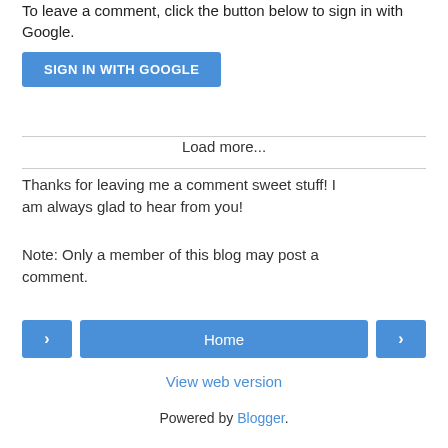To leave a comment, click the button below to sign in with Google.
[Figure (other): Blue 'SIGN IN WITH GOOGLE' button]
Load more...
Thanks for leaving me a comment sweet stuff! I am always glad to hear from you!
Note: Only a member of this blog may post a comment.
[Figure (other): Navigation row with left arrow button, Home button, and right arrow button]
View web version
Powered by Blogger.